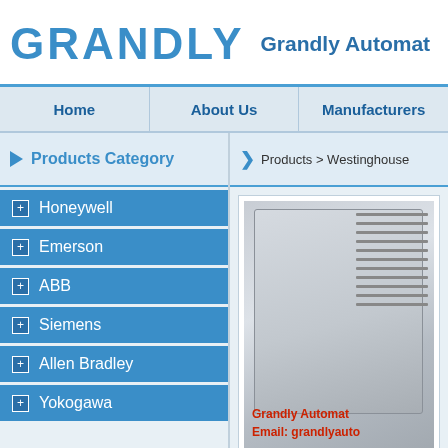GRANDLY  Grandly Automat
Home | About Us | Manufacturers
Products Category
Products > Westinghouse
Honeywell
Emerson
ABB
Siemens
Allen Bradley
Yokogawa
[Figure (photo): Industrial automation controller/device photo with Grandly Automatic watermark text and email overlay in red]
Grandly Automatic  Email: grandlyauto